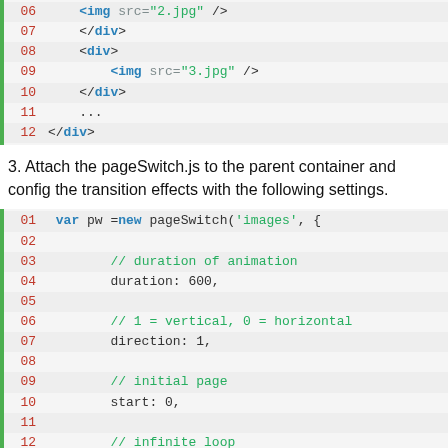[Figure (screenshot): Code block showing HTML snippet with lines 06-12: img src=2.jpg, /div, div, img src=3.jpg, /div, ..., /div]
3. Attach the pageSwitch.js to the parent container and config the transition effects with the following settings.
[Figure (screenshot): Code block showing JavaScript snippet lines 01-14: var pw = new pageSwitch('images', { duration: 600, direction: 1, start: 0, loop: false,]